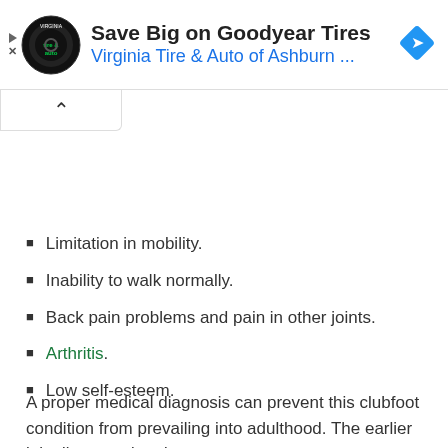[Figure (screenshot): Advertisement banner for Virginia Tire & Auto of Ashburn featuring Goodyear Tires promotion, with tire-and-auto logo, navigation icon, and play/close controls]
Limitation in mobility.
Inability to walk normally.
Back pain problems and pain in other joints.
Arthritis.
Low self-esteem.
A proper medical diagnosis can prevent this clubfoot condition from prevailing into adulthood. The earlier it is diagnosed and